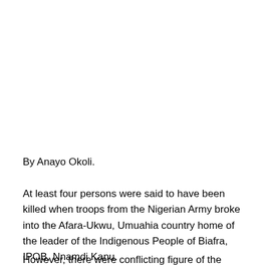By Anayo Okoli.
At least four persons were said to have been killed when troops from the Nigerian Army broke into the Afara-Ukwu, Umuahia country home of the leader of the Indigenous People of Biafra, IPOB, Nnamdi Kanu.
However, there were conflicting figure of the number of dead as unconfirmed reports put it at between 10 and 22 with